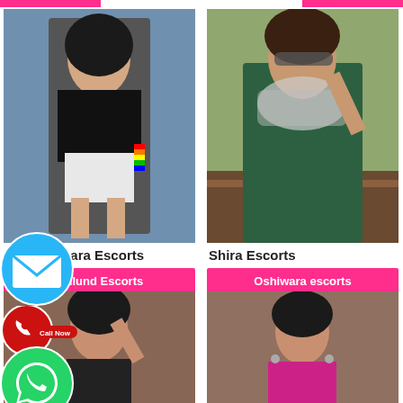[Figure (photo): Top pink banner bars]
[Figure (photo): Woman in black top and white shorts posing indoors - left card photo]
[Figure (photo): Woman in dark green top with scarf outdoors - right card photo]
mara Escorts
Shira Escorts
Mulund Escorts
Oshiwara escorts
[Figure (photo): Blue circle email icon overlay]
[Figure (photo): Red circle call now button overlay]
[Figure (photo): Green WhatsApp icon overlay]
[Figure (photo): Woman in black top against brick wall - bottom left card photo]
[Figure (photo): Woman in pink/magenta top - bottom right card photo]